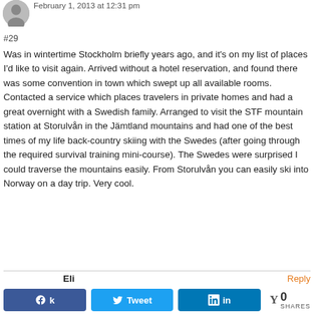[Figure (illustration): Generic avatar silhouette in gray circle]
February 1, 2013 at 12:31 pm
#29
Was in wintertime Stockholm briefly years ago, and it's on my list of places I'd like to visit again. Arrived without a hotel reservation, and found there was some convention in town which swept up all available rooms. Contacted a service which places travelers in private homes and had a great overnight with a Swedish family. Arranged to visit the STF mountain station at Storulvån in the Jämtland mountains and had one of the best times of my life back-country skiing with the Swedes (after going through the required survival training mini-course). The Swedes were surprised I could traverse the mountains easily. From Storulvån you can easily ski into Norway on a day trip. Very cool.
Eli
Reply